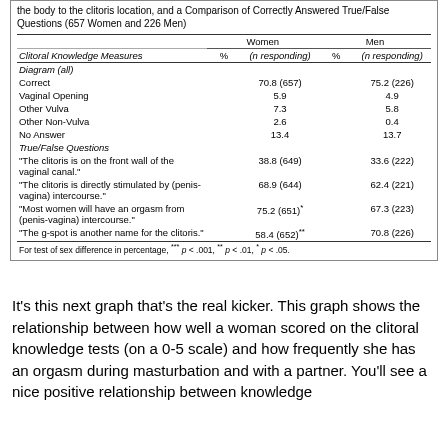| Clitoral Knowledge Measures | Women % | Women (n responding) | Men % | Men (n responding) |
| --- | --- | --- | --- | --- |
| Diagram (all) |  |  |  |  |
| Correct |  | 70.8 (657) |  | 75.2 (226) |
| Vaginal Opening |  | 5.9 |  | 4.9 |
| Other Vulva |  | 7.3 |  | 5.8 |
| Other Non-Vulva |  | 2.6 |  | 0.4 |
| No Answer |  | 13.4 |  | 13.7 |
| True/False Questions |  |  |  |  |
| “The clitoris is on the front wall of the vaginal canal.” |  | 38.8 (649) |  | 33.6 (222) |
| “The clitoris is directly stimulated by (penis-vagina) intercourse.*” |  | 68.9 (644) |  | 62.4 (221) |
| “Most women will have an orgasm from (penis-vagina) intercourse.” |  | 75.2 (651)* |  | 67.3 (223) |
| “The g-spot is another name for the clitoris.” |  | 58.4 (652)** |  | 70.8 (226) |
For test of sex difference in percentage, *** p < .001, ** p < .01, * p < .05.
It's this next graph that's the real kicker. This graph shows the relationship between how well a woman scored on the clitoral knowledge tests (on a 0-5 scale) and how frequently she has an orgasm during masturbation and with a partner. You'll see a nice positive relationship between knowledge and orgasm in masturbation and a relationship tally